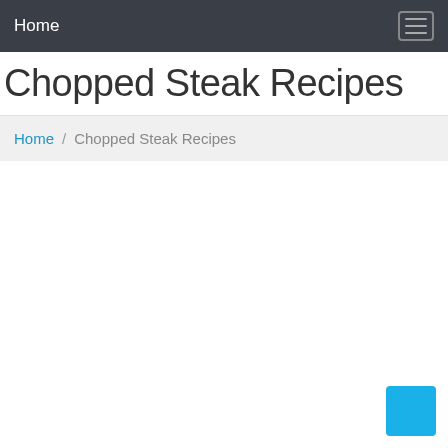Home
Chopped Steak Recipes
Home / Chopped Steak Recipes